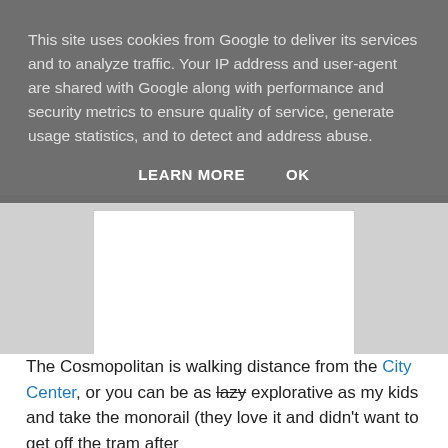This site uses cookies from Google to deliver its services and to analyze traffic. Your IP address and user-agent are shared with Google along with performance and security metrics to ensure quality of service, generate usage statistics, and to detect and address abuse.
LEARN MORE    OK
[Figure (other): White advertisement placeholder box on a gray background]
The Cosmopolitan is walking distance from the City Center, or you can be as lazy explorative as my kids and take the monorail (they love it and didn't want to get off the tram after